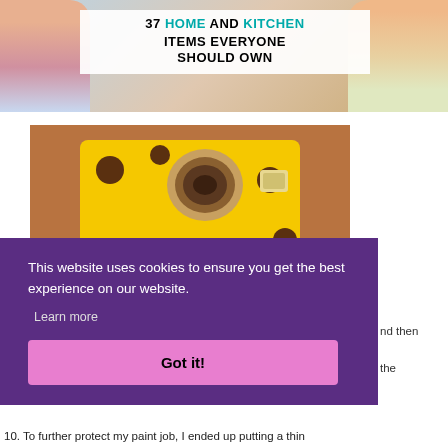[Figure (illustration): Blog post banner showing a woman cooking/baking with text overlay: '37 HOME AND KITCHEN ITEMS EVERYONE SHOULD OWN']
[Figure (photo): Photo of a yellow box-shaped object with brown polka dots and a round metallic tin on top, sitting on a brown surface]
This website uses cookies to ensure you get the best experience on our website.
Learn more
Got it!
nd then the
10. To further protect my paint job, I ended up putting a thin